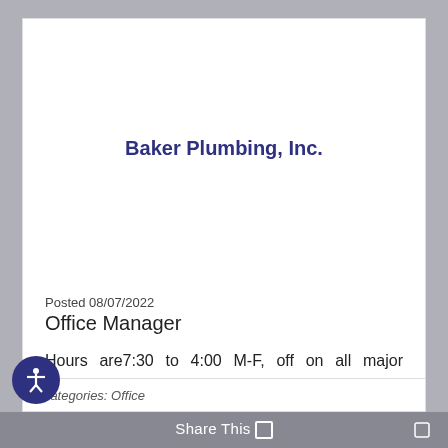Baker Plumbing, Inc.
Posted 08/07/2022
Office Manager
Hours are7:30 to 4:00 M-F, off on all major holidays.      The ideal candidate must be a self-starter, …
Baker Plumbing, Inc.
Categories: Office
Share This